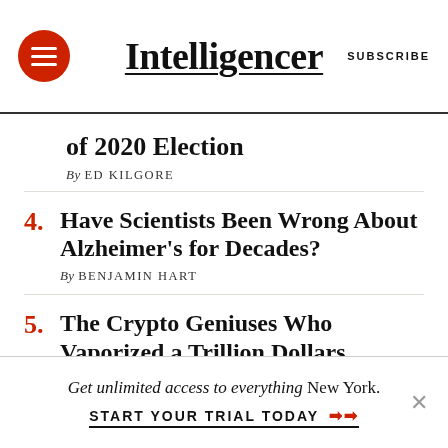Intelligencer
of 2020 Election
By ED KILGORE
4. Have Scientists Been Wrong About Alzheimer's for Decades? By BENJAMIN HART
5. The Crypto Geniuses Who Vaporized a Trillion Dollars By JEN WIECZNER
8/29/2022  THE NATIONAL INTEREST
Get unlimited access to everything New York. START YOUR TRIAL TODAY ➤➤